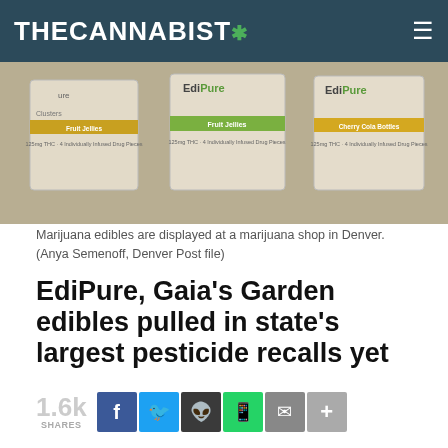THE CANNABIST
[Figure (photo): Marijuana edibles (EdiPure brand: Clusters, Fruit Jellies, Cherry Cola Bottles) displayed in packaging at a marijuana shop in Denver.]
Marijuana edibles are displayed at a marijuana shop in Denver. (Anya Semenoff, Denver Post file)
EdiPure, Gaia's Garden edibles pulled in state's largest pesticide recalls yet
1.6k SHARES
PUBLISHED: NOV 3, 2015, 5:55 PM • UPDATED: NOV 5, 2015, 6:24 PM
By Ricardo Baca and David Migoya, The Denver Post
RELATED ARTICLES